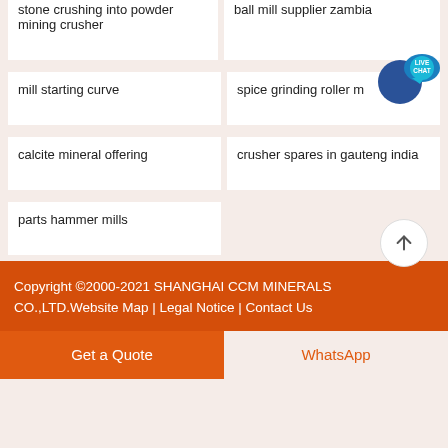stone crushing into powder mining crusher
ball mill supplier zambia
mill starting curve
spice grinding roller mill
calcite mineral offering
crusher spares in gauteng india
parts hammer mills
Copyright ©2000-2021 SHANGHAI CCM MINERALS CO.,LTD.Website Map | Legal Notice | Contact Us
Get a Quote
WhatsApp